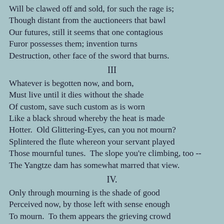Will be clawed off and sold, for such the rage is;
Though distant from the auctioneers that bawl
Our futures, still it seems that one contagious
Furor possesses them; invention turns
Destruction, other face of the sword that burns.
III
Whatever is begotten now, and born,
Must live until it dies without the shade
Of custom, save such custom as is worn
Like a black shroud whereby the heat is made
Hotter.  Old Glittering-Eyes, can you not mourn?
Splintered the flute whereon your servant played
Those mournful tunes.  The slope you're climbing, too --
The Yangtze dam has somewhat marred that view.
IV.
Only through mourning is the shade of good
Perceived now, by those left with sense enough
To mourn.  To them appears the grieving crowd
Of those who lit the lamp this storm would snuff.
O workers of some fabric that withstood --
Washington, Paul, Hillel, whose moulds we slough --
Return, breathe on our minds, draw civic shape
From gleamless palette, feckless fiddle-scrape.